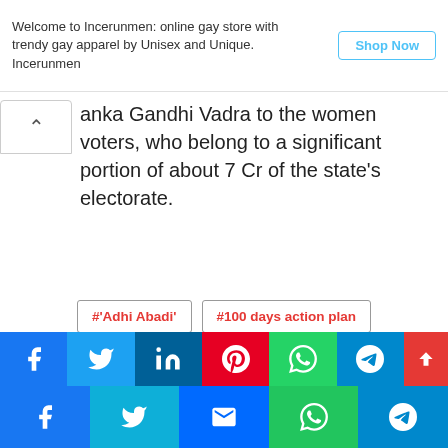Welcome to Incerunmen: online gay store with trendy gay apparel by Unisex and Unique. Incerunmen
anka Gandhi Vadra to the women voters, who belong to a significant portion of about 7 Cr of the state's electorate.
#'Adhi Abadi'
#100 days action plan
#Congress general secretary
#Priyanka Gandhi Vadra
#UP assembly polls
shortlink